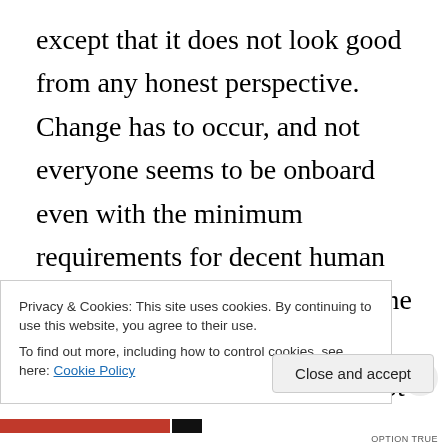except that it does not look good from any honest perspective. Change has to occur, and not everyone seems to be onboard even with the minimum requirements for decent human beingness. The good news for me is that at long last, the fear of Large Belligerents has gone. Not that THEY are gone, but somehow even as they feel empowered I feel their lack of substance. Also the fear of what others will
Privacy & Cookies: This site uses cookies. By continuing to use this website, you agree to their use.
To find out more, including how to control cookies, see here: Cookie Policy
Close and accept